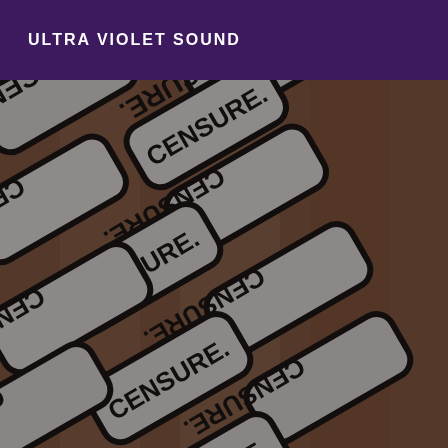ULTRA VIOLET SOUND
[Figure (photo): Photo showing multiple overlapping 'CENSURE' stickers/labels arranged diagonally. The stickers are grey/white with black borders and black text reading 'CENSURE' (with some appearing mirrored/upside-down). The background shows a blurred figure. The overall image has a dark semi-transparent overlay.]